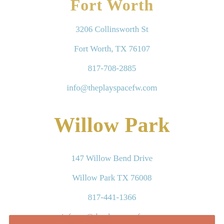Fort Worth
3206 Collinsworth St
Fort Worth, TX 76107
817-708-2885
info@theplayspacefw.com
Willow Park
147 Willow Bend Drive
Willow Park TX 76008
817-441-1366
infowp@theplayspacefw.com